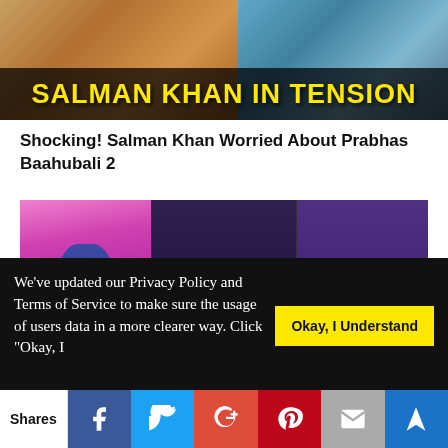[Figure (photo): Top banner image showing two panels with text overlay 'SALMAN KHAN IN TENSION' in yellow bold uppercase letters]
Shocking! Salman Khan Worried About Prabhas Baahubali 2
[Figure (photo): Three side-by-side Bollywood movie/celebrity images - left: woman in blue outfit on colorful background, center: male and female actor together, right: woman in sparkly outfit with 'WA WAI 2' text overlay]
We've updated our Privacy Policy and Terms of Service to make sure the usage of users data in a more clearer way. Click "Okay, I
Okay, I Understand
Shares